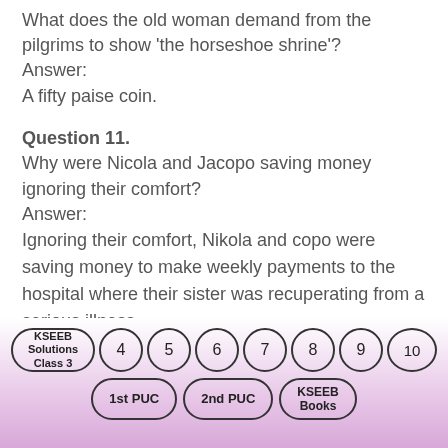What does the old woman demand from the pilgrims to show 'the horseshoe shrine'?
Answer:
A fifty paise coin.
Question 11.
Why were Nicola and Jacopo saving money ignoring their comfort?
Answer:
Ignoring their comfort, Nikola and copo were saving money to make weekly payments to the hospital where their sister was recuperating from a serious illness.
[Figure (other): Footer navigation badges: KSEEB Solutions Class 3, 4, 5, 6, 7, 8, 9, 10, 1st PUC, 2nd PUC, KSEEB Books on a pink gradient background]